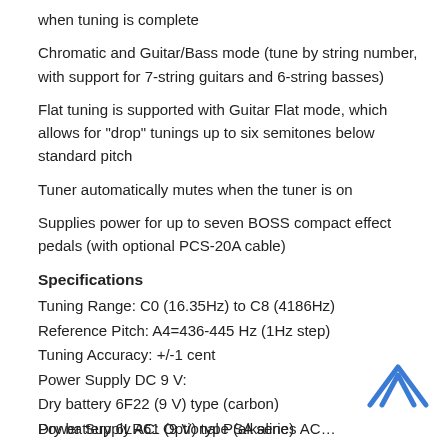when tuning is complete
Chromatic and Guitar/Bass mode (tune by string number, with support for 7-string guitars and 6-string basses)
Flat tuning is supported with Guitar Flat mode, which allows for "drop" tunings up to six semitones below standard pitch
Tuner automatically mutes when the tuner is on
Supplies power for up to seven BOSS compact effect pedals (with optional PCS-20A cable)
Specifications
Tuning Range: C0 (16.35Hz) to C8 (4186Hz)
Reference Pitch: A4=436-445 Hz (1Hz step)
Tuning Accuracy: +/-1 cent
Power Supply DC 9 V:
Dry battery 6F22 (9 V) type (carbon)
Dry battery 6LR61 (9 V) type (alkaline)
Power Supply AC: Optional PSA series AC Adapter (sold separately)
[Figure (illustration): Blue house/chevron icon in bottom right corner]